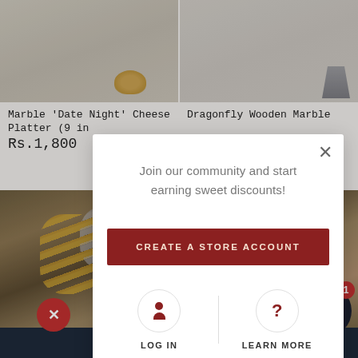[Figure (screenshot): Product image of Marble Date Night Cheese Platter on left, Dragonfly Wooden Marble product on right]
Marble 'Date Night' Cheese Platter (9 in
Dragonfly Wooden Marble
Rs.1,800
[Figure (screenshot): Background photo of gold and silver cutlery on wooden surface]
Join our community and start earning sweet discounts!
CREATE A STORE ACCOUNT
LOG IN
LEARN MORE
Download APP